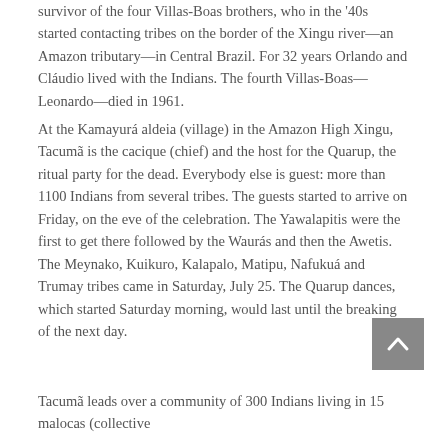survivor of the four Villas-Boas brothers, who in the '40s started contacting tribes on the border of the Xingu river—an Amazon tributary—in Central Brazil. For 32 years Orlando and Cláudio lived with the Indians. The fourth Villas-Boas—Leonardo—died in 1961.
At the Kamayurá aldeia (village) in the Amazon High Xingu, Tacumã is the cacique (chief) and the host for the Quarup, the ritual party for the dead. Everybody else is guest: more than 1100 Indians from several tribes. The guests started to arrive on Friday, on the eve of the celebration. The Yawalapitis were the first to get there followed by the Waurás and then the Awetis. The Meynako, Kuikuro, Kalapalo, Matipu, Nafukuá and Trumay tribes came in Saturday, July 25. The Quarup dances, which started Saturday morning, would last until the breaking of the next day.
Tacumã leads over a community of 300 Indians living in 15 malocas (collective